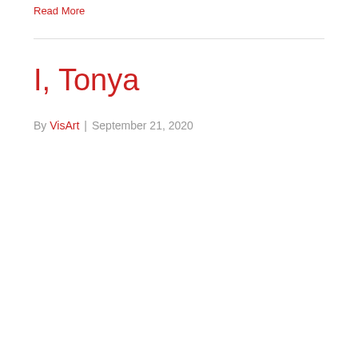Read More
I, Tonya
By VisArt | September 21, 2020